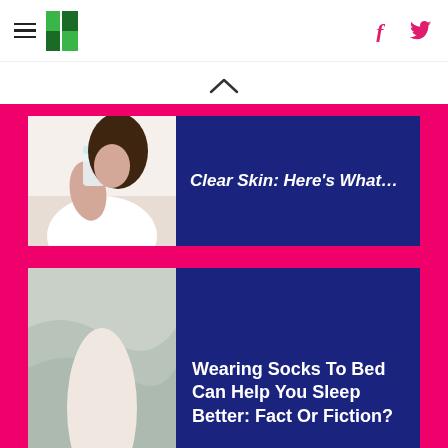HuffPost navigation with hamburger menu, logo, Facebook and Twitter icons
[Figure (other): Up chevron / caret icon for scrolling up]
[Figure (photo): Woman holding a glass of milk or lotion, partial view, article about clear skin]
Clear Skin: Here's What...
[Figure (photo): Person lying in bed with rainbow striped socks visible on feet]
Wearing Socks To Bed Can Help You Sleep Better: Fact Or Fiction?